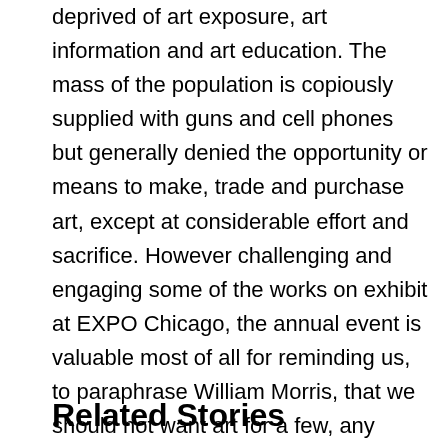deprived of art exposure, art information and art education. The mass of the population is copiously supplied with guns and cell phones but generally denied the opportunity or means to make, trade and purchase art, except at considerable effort and sacrifice. However challenging and engaging some of the works on exhibit at EXPO Chicago, the annual event is valuable most of all for reminding us, to paraphrase William Morris, that we should not want art for a few, any more than we want education for a few or freedom for a few; it should be for all.
Related Stories